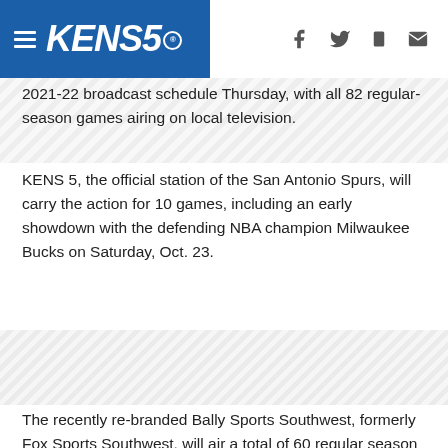KENS5 [logo with navigation icons]
2021-22 broadcast schedule Thursday, with all 82 regular-season games airing on local television.
KENS 5, the official station of the San Antonio Spurs, will carry the action for 10 games, including an early showdown with the defending NBA champion Milwaukee Bucks on Saturday, Oct. 23.
The recently re-branded Bally Sports Southwest, formerly Fox Sports Southwest, will air a total of 60 regular season games, while CW35 will broadcast 12 games locally.
KENS 5 also will broadcast the Silver and Black's showdown with the Los Angeles Lakers on Thursday, December 23.
Here's the full schedule of Spurs games on KENS 5 this